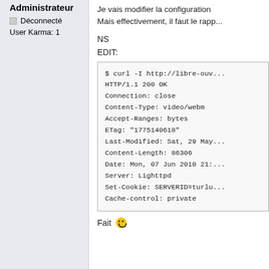Administrateur
Déconnecté
User Karma: 1
Je vais modifier la configuration Mais effectivement, il faut le rapp...
NS
EDIT:
$ curl -I http://libre-ouv...
HTTP/1.1 200 OK
Connection: close
Content-Type: video/webm
Accept-Ranges: bytes
ETag: "1775140618"
Last-Modified: Sat, 29 May...
Content-Length: 86306
Date: Mon, 07 Jun 2010 21:...
Server: Lighttpd
Set-Cookie: SERVERID=turlu...
Cache-control: private
Fait 🙂